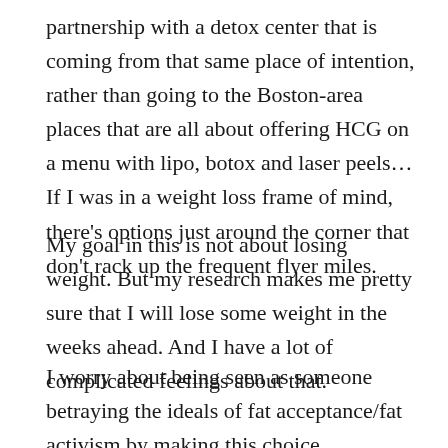partnership with a detox center that is coming from that same place of intention, rather than going to the Boston-area places that are all about offering HCG on a menu with lipo, botox and laser peels… If I was in a weight loss frame of mind, there's options just around the corner that don't rack up the frequent flyer miles.
My goal in this is not about losing weight. But my research makes me pretty sure that I will lose some weight in the weeks ahead. And I have a lot of complicated feelings about that.
I worry about being seen as someone betraying the ideals of fat acceptance/fat activism by making this choice.